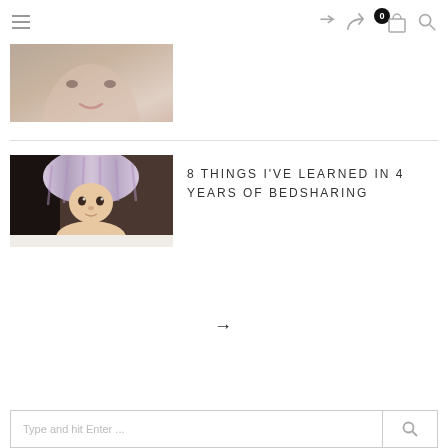Navigation header with hamburger menu, share icon, cart (0), and search icon
[Figure (photo): Partial cropped photo of a child's face, close-up, top portion visible]
[Figure (photo): Baby lying on stomach under a lavender striped blanket/towel, looking at camera]
8 THINGS I'VE LEARNED IN 4 YEARS OF BEDSHARING
→
Type and hit Enter ...